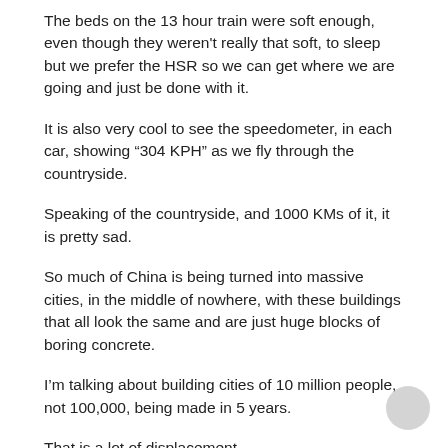The beds on the 13 hour train were soft enough, even though they weren't really that soft, to sleep but we prefer the HSR so we can get where we are going and just be done with it.
It is also very cool to see the speedometer, in each car, showing “304 KPH” as we fly through the countryside.
Speaking of the countryside, and 1000 KMs of it, it is pretty sad.
So much of China is being turned into massive cities, in the middle of nowhere, with these buildings that all look the same and are just huge blocks of boring concrete.
I’m talking about building cities of 10 million people, not 100,000, being made in 5 years.
That is a lot of displacement
China is trying to become a 1st world country, at light year speed, and is actually killing all the culture and style that made China beautiful in the past.